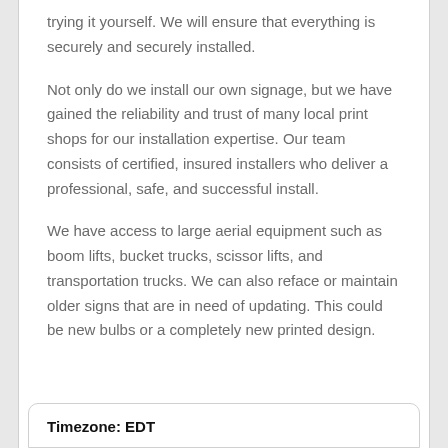trying it yourself. We will ensure that everything is securely and securely installed.
Not only do we install our own signage, but we have gained the reliability and trust of many local print shops for our installation expertise. Our team consists of certified, insured installers who deliver a professional, safe, and successful install.
We have access to large aerial equipment such as boom lifts, bucket trucks, scissor lifts, and transportation trucks. We can also reface or maintain older signs that are in need of updating. This could be new bulbs or a completely new printed design.
Timezone: EDT